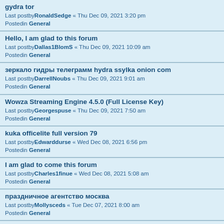gydra tor
Last postby RonaldSedge « Thu Dec 09, 2021 3:20 pm
Posted in General
Hello, I am glad to this forum
Last postby Dallas1BlomS « Thu Dec 09, 2021 10:09 am
Posted in General
зеркало гидры телеграмм hydra ssylka onion com
Last postby DarrellNoubs « Thu Dec 09, 2021 9:01 am
Posted in General
Wowza Streaming Engine 4.5.0 (Full License Key)
Last postby Georgespuse « Thu Dec 09, 2021 7:50 am
Posted in General
kuka officelite full version 79
Last postby Edwarddurse « Wed Dec 08, 2021 6:56 pm
Posted in General
I am glad to come this forum
Last postby Charles1finue « Wed Dec 08, 2021 5:08 am
Posted in General
праздничное агентство москва
Last postby Mollysceds « Tue Dec 07, 2021 8:00 am
Posted in General
bitcoin per i guadagni
Last postby Williamhoulp « Tue Dec 07, 2021 1:53 am
Posted in General
праздничное агентство москва
Last postby Mollysceds « Tue Dec 07, 2021 1:39 am
Posted in General